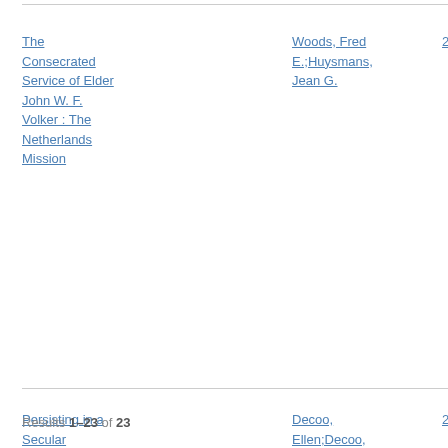The Consecrated Service of Elder John W. F. Volker : The Netherlands Mission | Woods, Fred E.;Huysmans, Jean G. | 2016 | Journal Article
Persisting in a Secular Environment : Mormonism in the Low Countries | Decoo, Ellen;Decoo, Wilfried;van Beek, Walter E. A. | 2020 | Book Chapter
Results 1–23 of 23